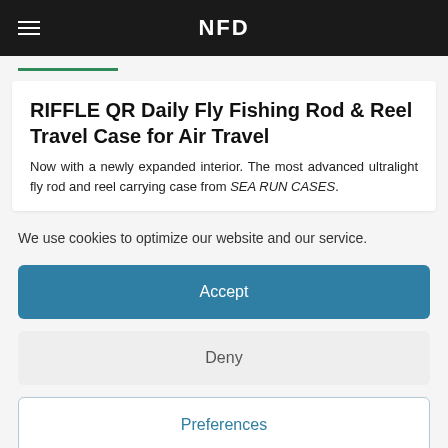NFD
RIFFLE QR Daily Fly Fishing Rod & Reel Travel Case for Air Travel
Now with a newly expanded interior. The most advanced ultralight fly rod and reel carrying case from SEA RUN CASES.
We use cookies to optimize our website and our service.
Accept
Deny
Preferences